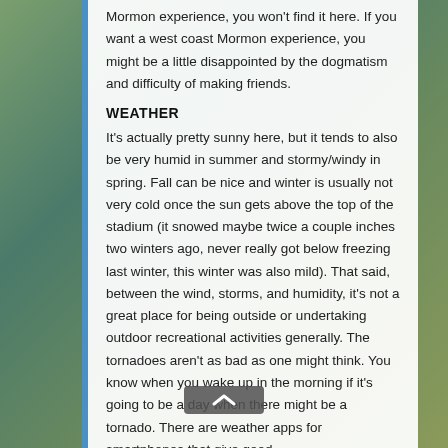Mormon experience, you won't find it here. If you want a west coast Mormon experience, you might be a little disappointed by the dogmatism and difficulty of making friends.
WEATHER
It's actually pretty sunny here, but it tends to also be very humid in summer and stormy/windy in spring. Fall can be nice and winter is usually not very cold once the sun gets above the top of the stadium (it snowed maybe twice a couple inches two winters ago, never really got below freezing last winter, this winter was also mild). That said, between the wind, storms, and humidity, it's not a great place for being outside or undertaking outdoor recreational activities generally. The tornadoes aren't as bad as one might think. You know when you wake up in the morning if it's going to be a day when there might be a tornado. There are weather apps for smartphones that give good,